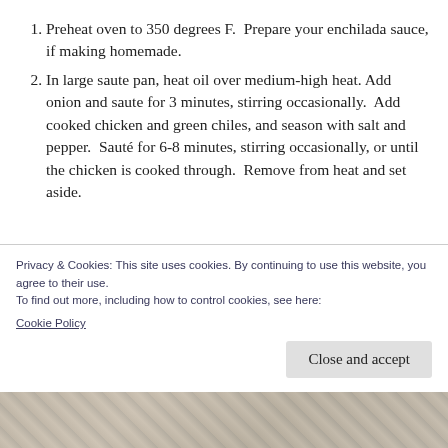Preheat oven to 350 degrees F.  Prepare your enchilada sauce, if making homemade.
In large saute pan, heat oil over medium-high heat. Add onion and saute for 3 minutes, stirring occasionally.  Add cooked chicken and green chiles, and season with salt and pepper.  Sauté for 6-8 minutes, stirring occasionally, or until the chicken is cooked through.  Remove from heat and set aside.
Privacy & Cookies: This site uses cookies. By continuing to use this website, you agree to their use.
To find out more, including how to control cookies, see here: Cookie Policy
[Figure (photo): Photo strip at the bottom of the page showing food (enchilada dish)]